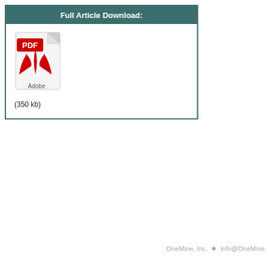Full Article Download:
[Figure (other): Adobe PDF file icon with red PDF label badge and Adobe text, representing a downloadable PDF document]
(350 kb)
OneMine, Inc.  •  info@OneMine.